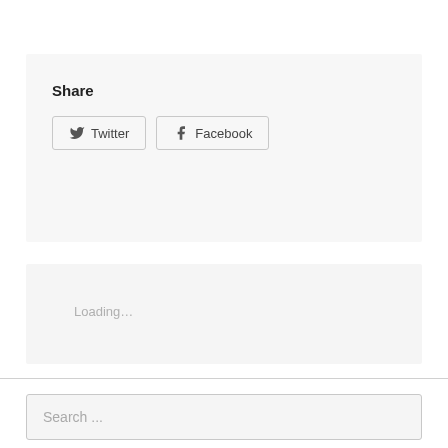Share
[Figure (screenshot): Twitter and Facebook share buttons inside a light gray box]
Loading…
Search ...